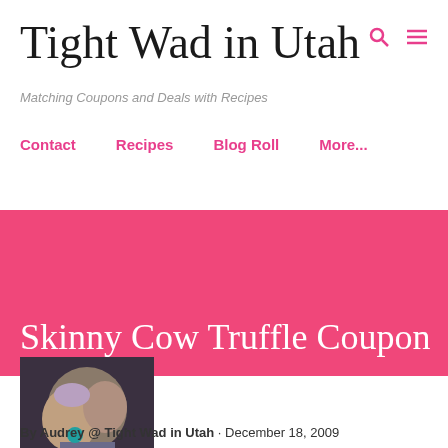Tight Wad in Utah
Matching Coupons and Deals with Recipes
Contact
Recipes
Blog Roll
More...
Skinny Cow Truffle Coupon
[Figure (photo): Photo of a woman and a baby wearing a purple hat, the baby holding something teal/blue]
By Audrey @ Tight Wad in Utah · December 18, 2009